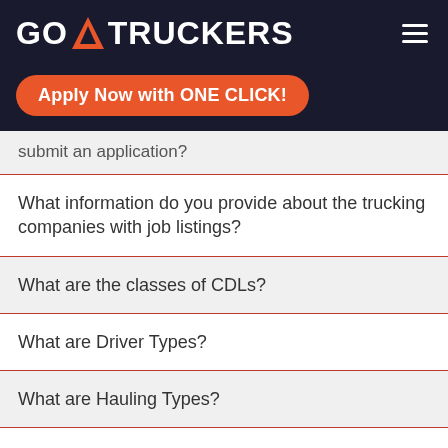GO TRUCKERS
Apply Now with ONE CLICK!
submit an application?
What information do you provide about the trucking companies with job listings?
What are the classes of CDLs?
What are Driver Types?
What are Hauling Types?
What is an Endorsement?
Is my personal information secure?